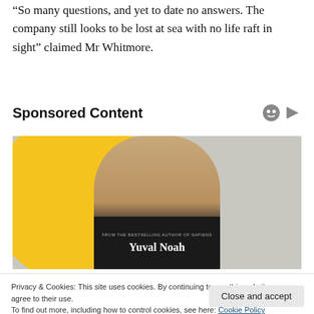“So many questions, and yet to date no answers. The company still looks to be lost at sea with no life raft in sight” claimed Mr Whitmore.
Sponsored Content
[Figure (photo): Advertisement image showing a person holding a book by Yuval Noah, with a yellow circle graphic background]
Privacy & Cookies: This site uses cookies. By continuing to use this website, you agree to their use.
To find out more, including how to control cookies, see here: Cookie Policy